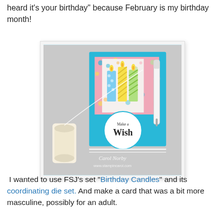heard it's your birthday" because February is my birthday month!
[Figure (photo): Handmade birthday card with blue cardstock, three decorated birthday candles, a 'Make a Wish' circle sentiment, a spool of white thread, and a white pen/marker. Watermark: Carol Norby, www.stampincarol.com]
I wanted to use FSJ's set "Birthday Candles" and its coordinating die set. And make a card that was a bit more masculine, possibly for an adult.